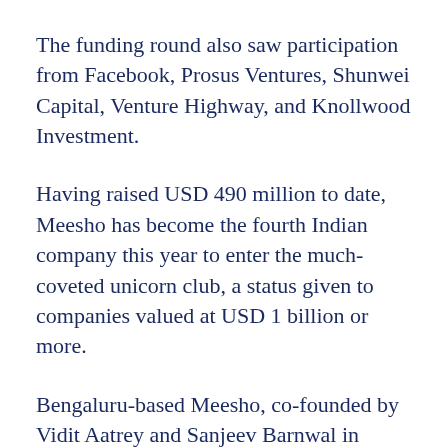The funding round also saw participation from Facebook, Prosus Ventures, Shunwei Capital, Venture Highway, and Knollwood Investment.
Having raised USD 490 million to date, Meesho has become the fourth Indian company this year to enter the much-coveted unicorn club, a status given to companies valued at USD 1 billion or more.
Bengaluru-based Meesho, co-founded by Vidit Aatrey and Sanjeev Barnwal in 2015, is an online marketplace that allows individuals—largely women and students—to buy products